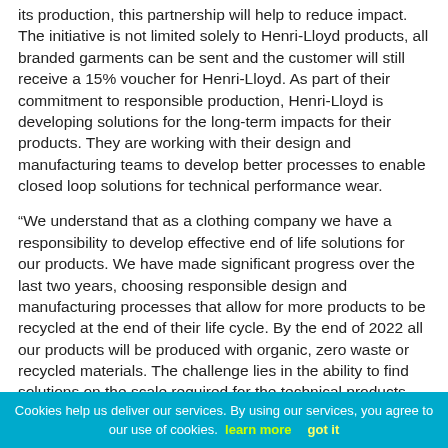its production, this partnership will help to reduce impact. The initiative is not limited solely to Henri-Lloyd products, all branded garments can be sent and the customer will still receive a 15% voucher for Henri-Lloyd. As part of their commitment to responsible production, Henri-Lloyd is developing solutions for the long-term impacts for their products. They are working with their design and manufacturing teams to develop better processes to enable closed loop solutions for technical performance wear.
“We understand that as a clothing company we have a responsibility to develop effective end of life solutions for our products. We have made significant progress over the last two years, choosing responsible design and manufacturing processes that allow for more products to be recycled at the end of their life cycle. By the end of 2022 all our products will be produced with organic, zero waste or recycled materials. The challenge lies in the ability to find solutions on the scale required for the technical products and this is still being developed. The
Cookies help us deliver our services. By using our services, you agree to our use of cookies. learn more   got it